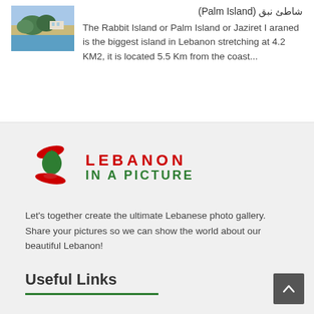[Figure (photo): Thumbnail photo of Palm Island / Rabbit Island in Lebanon, showing a coastal scene with blue water and green vegetation.]
شاطئ نبق (Palm Island) The Rabbit Island or Palm Island or Jaziret I araned is the biggest island in Lebanon stretching at 4.2 KM2, it is located 5.5 Km from the coast...
[Figure (logo): Lebanon in a Picture logo: a stylized red and green cedar/tree icon on left, with LEBANON in red bold spaced letters and IN A PICTURE in green bold spaced letters on the right.]
Let's together create the ultimate Lebanese photo gallery. Share your pictures so we can show the world about our beautiful Lebanon!
Useful Links